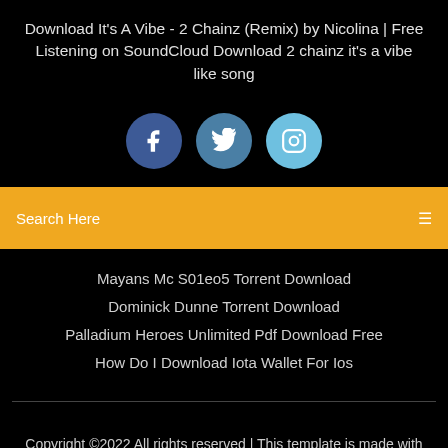Download It's A Vibe - 2 Chainz (Remix) by Nicolina | Free Listening on SoundCloud Download 2 chainz it's a vibe like song
[Figure (infographic): Three social media icon circles: Facebook (dark blue), Twitter (medium blue), Instagram (light blue)]
Search Here
Mayans Mc S01eo5 Torrent Download
Dominick Dunne Torrent Download
Palladium Heroes Unlimited Pdf Download Free
How Do I Download Iota Wallet For Ios
Copyright ©2022 All rights reserved | This template is made with ♡ by Colorlib